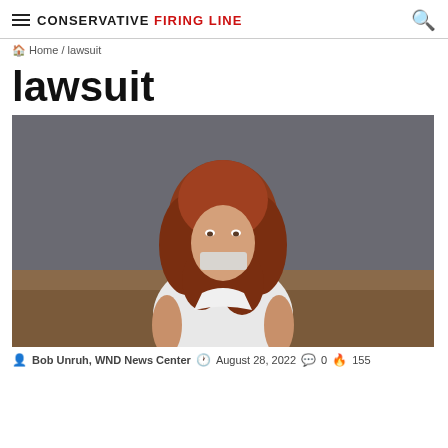CONSERVATIVE FIRING LINE
Home / lawsuit
lawsuit
[Figure (photo): A red-haired woman in a white halter dress sitting on a brown leather couch, with white tape covering her mouth, photographed against a dark grey background.]
Bob Unruh, WND News Center  August 28, 2022  0  155